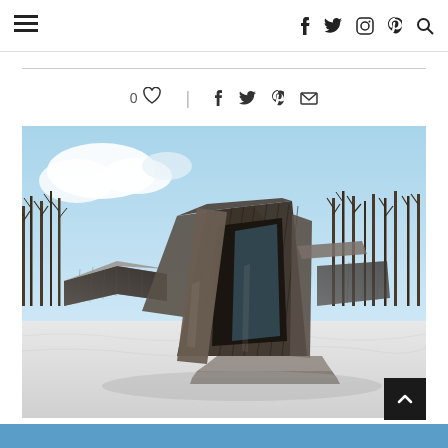Navigation header with hamburger menu and social icons (facebook, twitter, instagram, pinterest, search)
0 likes | share icons (facebook, twitter, pinterest, email)
[Figure (photo): Photograph of a futuristic angular building with metallic dark shingle cladding set in a snowy landscape with bare winter trees in the background and a blue sky with clouds.]